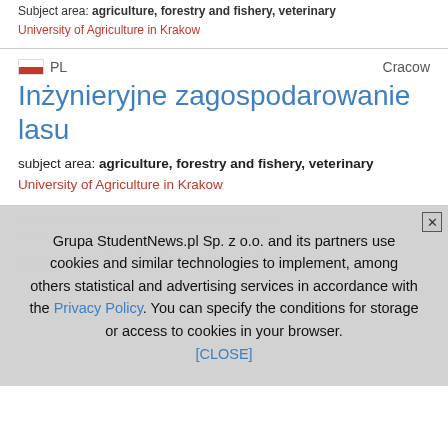Subject area: agriculture, forestry and fishery, veterinary
University of Agriculture in Krakow
PL   Cracow
Inżynieryjne zagospodarowanie lasu
subject area: agriculture, forestry and fishery, veterinary
University of Agriculture in Krakow
Grupa StudentNews.pl Sp. z o.o. and its partners use cookies and similar technologies to implement, among others statistical and advertising services in accordance with the Privacy Policy. You can specify the conditions for storage or access to cookies in your browser. [CLOSE]